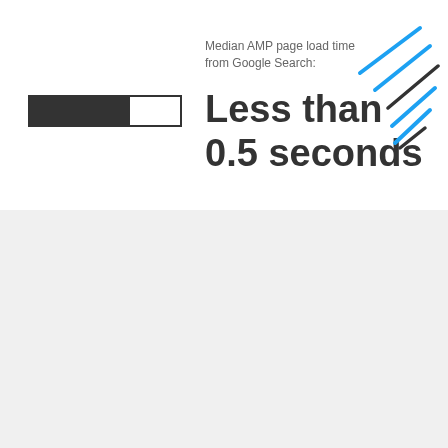Median AMP page load time from Google Search:
[Figure (infographic): Progress bar showing partial fill (about 2/3 dark), representing fast load time]
Less than 0.5 seconds
[Figure (illustration): Diagonal cyan/blue lines decoration in top right corner]
[Figure (illustration): Diagonal cyan/blue lines decoration in bottom left corner]
Over 4 Billion
AMP pages published
[Figure (illustration): Three stacked AMP page icons (documents with lightning bolt symbol)]